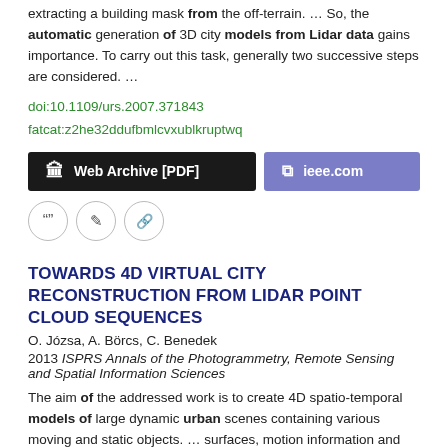extracting a building mask from the off-terrain.  ...  So, the automatic generation of 3D city models from Lidar data gains importance. To carry out this task, generally two successive steps are considered.  ...
doi:10.1109/urs.2007.371843
fatcat:z2he32ddufbmlcvxublkruptwq
[Figure (other): Two buttons: 'Web Archive [PDF]' (dark background) and 'ieee.com' (purple background)]
[Figure (other): Three icon buttons: quote, edit, and link icons in circular outlines]
TOWARDS 4D VIRTUAL CITY RECONSTRUCTION FROM LIDAR POINT CLOUD SEQUENCES
O. Józsa, A. Börcs, C. Benedek
2013 ISPRS Annals of the Photogrammetry, Remote Sensing and Spatial Information Sciences
The aim of the addressed work is to create 4D spatio-temporal models of large dynamic urban scenes containing various moving and static objects.  ...  surfaces, motion information and objects from the registered dense point cloud completed with point time stamp information.  ...  (b) A triangulation result of the facade of the Great Market Hall Sample results on facade approximation based on RMB Lidar data with the proposed approach a vehicle